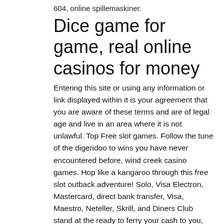604, online spillemaskiner.
Dice game for game, real online casinos for money
Entering this site or using any information or link displayed within it is your agreement that you are aware of these terms and are of legal age and live in an area where it is not unlawful. Top Free slot games. Follow the tune of the digeridoo to wins you have never encountered before, wind creek casino games. Hop like a kangaroo through this free slot outback adventure! Solo, Visa Electron, Mastercard, direct bank transfer, Visa, Maestro, Neteller, Skrill, and Diners Club stand at the ready to ferry your cash to you, wind creek casino games. Birthday bonusses get you free money at the casino fo, casino slot machines.